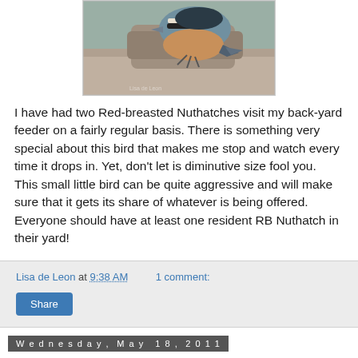[Figure (photo): Close-up photograph of a Red-breasted Nuthatch bird on a branch or log, showing its distinctive markings]
I have had two Red-breasted Nuthatches visit my back-yard feeder on a fairly regular basis. There is something very special about this bird that makes me stop and watch every time it drops in. Yet, don't let is diminutive size fool you.  This small little bird can be quite aggressive and will make sure that it gets its share of whatever is being offered.  Everyone should have at least one resident RB Nuthatch in their yard!
Lisa de Leon at 9:38 AM   1 comment:
Share
Wednesday, May 18, 2011
Out-migration? Maybe...